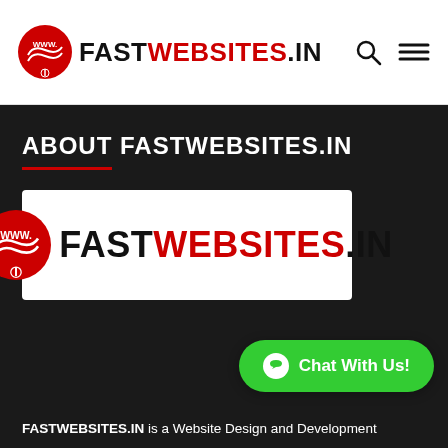FASTWEBSITES.IN
ABOUT FASTWEBSITES.IN
[Figure (logo): FASTWEBSITES.IN logo: red circular WWW icon with FAST in black, WEBSITES in red, .IN in black on white background]
FASTWEBSITES.IN is a Website Design and Development